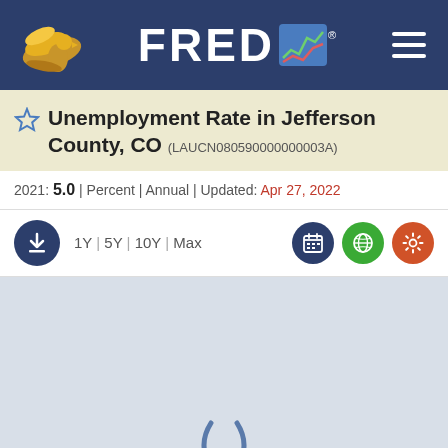FRED - Federal Reserve Economic Data
Unemployment Rate in Jefferson County, CO (LAUCN080590000000003A)
2021: 5.0 | Percent | Annual | Updated: Apr 27, 2022
[Figure (screenshot): FRED chart toolbar with download button, time period selectors (1Y, 5Y, 10Y, Max), calendar, globe, and settings icons]
[Figure (other): Loading spinner on gray chart background area]